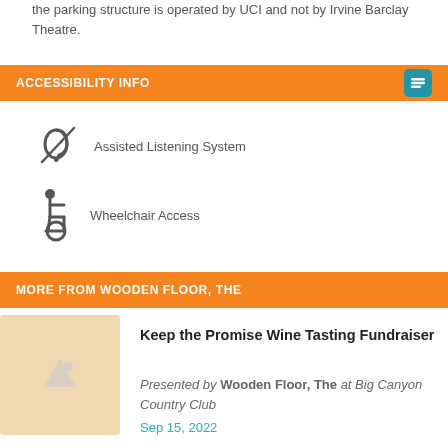the parking structure is operated by UCI and not by Irvine Barclay Theatre.
ACCESSIBILITY INFO
Assisted Listening System
Wheelchair Access
MORE FROM WOODEN FLOOR, THE
Keep the Promise Wine Tasting Fundraiser
Presented by Wooden Floor, The at Big Canyon Country Club
Sep 15, 2022